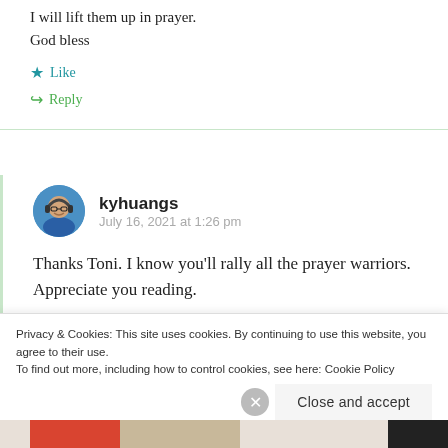I will lift them up in prayer.
God bless
★ Like
↳ Reply
kyhuangs
July 16, 2021 at 1:26 pm
[Figure (photo): Circular avatar photo of kyhuangs, a person wearing headphones and glasses]
Thanks Toni. I know you'll rally all the prayer warriors. Appreciate you reading.
Privacy & Cookies: This site uses cookies. By continuing to use this website, you agree to their use.
To find out more, including how to control cookies, see here: Cookie Policy
Close and accept